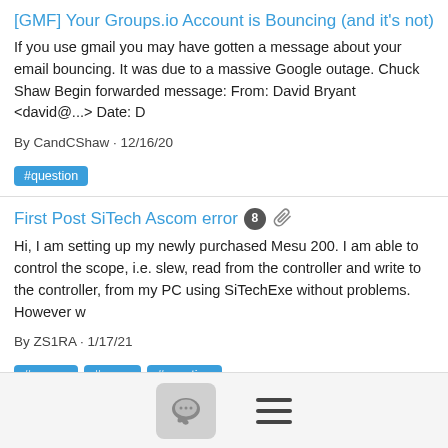[GMF] Your Groups.io Account is Bouncing (and it's not)
If you use gmail you may have gotten a message about your email bouncing. It was due to a massive Google outage. Chuck Shaw Begin forwarded message: From: David Bryant <david@...> Date: D
By CandCShaw · 12/16/20
#question
First Post SiTech Ascom error  8  [attachment]
Hi, I am setting up my newly purchased Mesu 200. I am able to control the scope, i.e. slew, read from the controller and write to the controller, from my PC using SiTechExe without problems. However w
By ZS1RA · 1/17/21
#ascom  #mesu  #question
practical tips for multistar alignment  2
Hi Mark, The QuickStart process was developed by Chuck Shaw. The QuickStart for Alt-Az describes a Single Star plus Star...